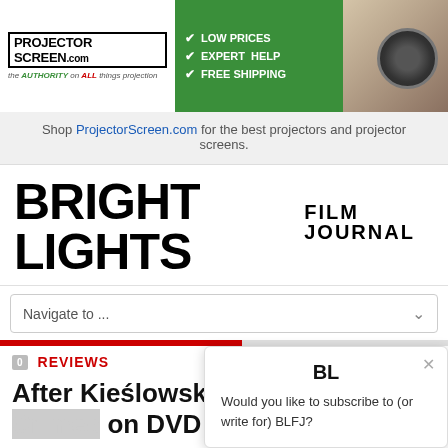[Figure (screenshot): ProjectorScreen.com advertisement banner with logo, taglines (LOW PRICES, EXPERT HELP, FREE SHIPPING), and projector image]
Shop ProjectorScreen.com for the best projectors and projector screens.
BRIGHT LIGHTS FILM JOURNAL
Navigate to ...
BL
Would you like to subscribe to (or write for) BLFJ?
REVIEWS
After Kieślowski: Colours and Crimes on DVD
Sheila Skaff   August 1, 2005
5